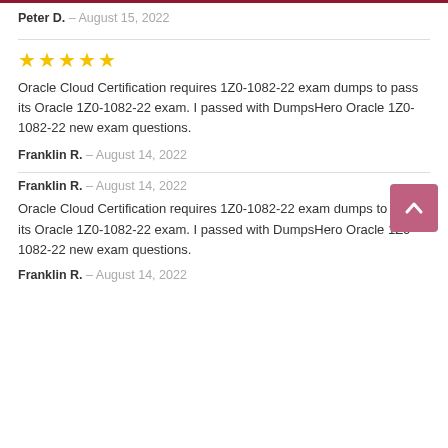Peter D. – August 15, 2022
★★★★★
Oracle Cloud Certification requires 1Z0-1082-22 exam dumps to pass its Oracle 1Z0-1082-22 exam. I passed with DumpsHero Oracle 1Z0-1082-22 new exam questions.
Franklin R. – August 14, 2022
Franklin R. – August 14, 2022
Oracle Cloud Certification requires 1Z0-1082-22 exam dumps to pass its Oracle 1Z0-1082-22 exam. I passed with DumpsHero Oracle 1Z0-1082-22 new exam questions.
Franklin R. – August 14, 2022